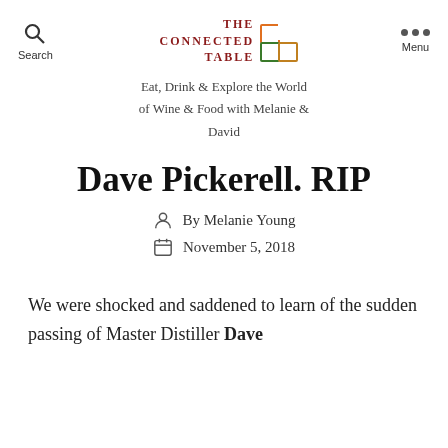THE CONNECTED TABLE — Eat, Drink & Explore the World of Wine & Food with Melanie & David
Dave Pickerell. RIP
By Melanie Young
November 5, 2018
We were shocked and saddened to learn of the sudden passing of Master Distiller Dave